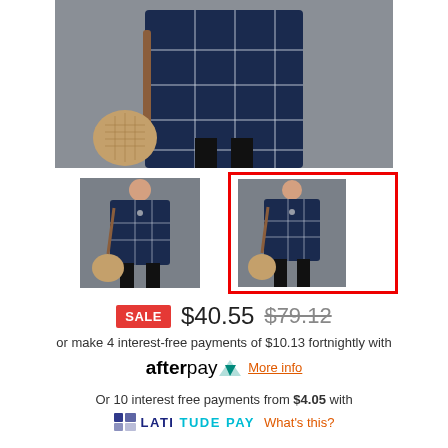[Figure (photo): Main product photo: woman wearing navy blue plaid long-sleeve dress, holding a tan woven bag, from waist down, against grey background]
[Figure (photo): Thumbnail 1: full body shot of woman in navy plaid dress holding woven bag, grey background]
[Figure (photo): Thumbnail 2 (selected, red border): full body shot of woman in navy plaid dress holding woven bag, grey background, slightly different angle]
SALE $40.55 $79.12
or make 4 interest-free payments of $10.13 fortnightly with afterpay More info
Or 10 interest free payments from $4.05 with
LATITUDE PAY What's this?